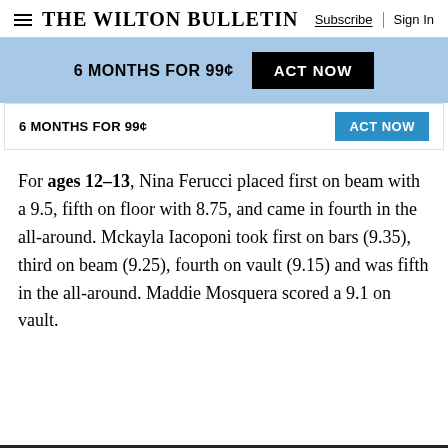The Wilton Bulletin | Subscribe | Sign In
6 MONTHS FOR 99¢  ACT NOW
6 MONTHS FOR 99¢  ACT NOW
For ages 12-13, Nina Ferucci placed first on beam with a 9.5, fifth on floor with 8.75, and came in fourth in the all-around. Mckayla Iacoponi took first on bars (9.35), third on beam (9.25), fourth on vault (9.15) and was fifth in the all-around. Maddie Mosquera scored a 9.1 on vault.